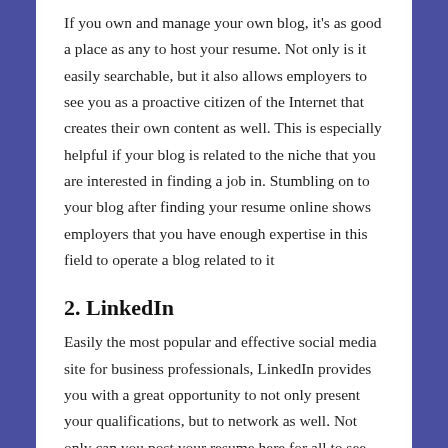If you own and manage your own blog, it's as good a place as any to host your resume. Not only is it easily searchable, but it also allows employers to see you as a proactive citizen of the Internet that creates their own content as well. This is especially helpful if your blog is related to the niche that you are interested in finding a job in. Stumbling on to your blog after finding your resume online shows employers that you have enough expertise in this field to operate a blog related to it
2. LinkedIn
Easily the most popular and effective social media site for business professionals, LinkedIn provides you with a great opportunity to not only present your qualifications, but to network as well. Not only can you post your resume here for all to see, but you can also receive recommendations and words of praise from former co